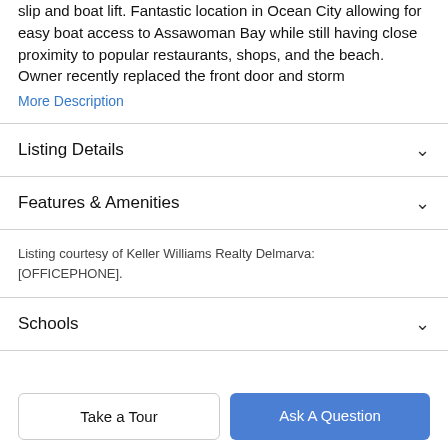slip and boat lift. Fantastic location in Ocean City allowing for easy boat access to Assawoman Bay while still having close proximity to popular restaurants, shops, and the beach. Owner recently replaced the front door and storm
More Description
Listing Details
Features & Amenities
Listing courtesy of Keller Williams Realty Delmarva: [OFFICEPHONE].
Schools
Take a Tour
Ask A Question